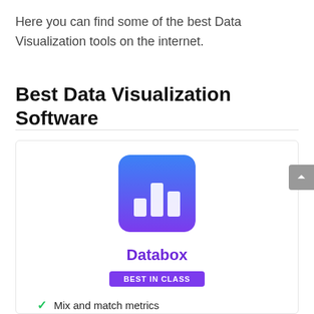Here you can find some of the best Data Visualization tools on the internet.
Best Data Visualization Software
[Figure (logo): Databox app logo: blue-to-purple gradient square with white bar chart icon]
Databox
BEST IN CLASS
Mix and match metrics
DIY Dashboard Designer